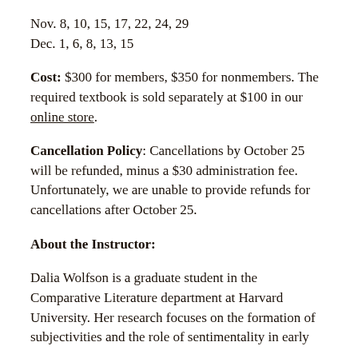Nov. 8, 10, 15, 17, 22, 24, 29
Dec. 1, 6, 8, 13, 15
Cost: $300 for members, $350 for nonmembers. The required textbook is sold separately at $100 in our online store.
Cancellation Policy: Cancellations by October 25 will be refunded, minus a $30 administration fee. Unfortunately, we are unable to provide refunds for cancellations after October 25.
About the Instructor:
Dalia Wolfson is a graduate student in the Comparative Literature department at Harvard University. Her research focuses on the formation of subjectivities and the role of sentimentality in early